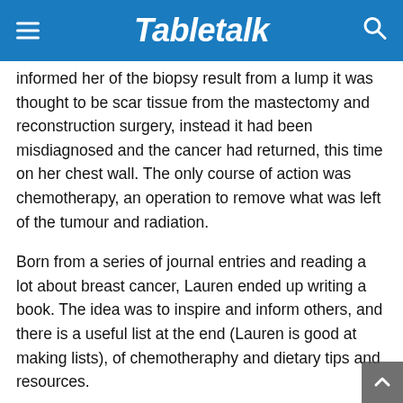Tabletalk
informed her of the biopsy result from a lump it was thought to be scar tissue from the mastectomy and reconstruction surgery, instead it had been misdiagnosed and the cancer had returned, this time on her chest wall. The only course of action was chemotherapy, an operation to remove what was left of the tumour and radiation.
Born from a series of journal entries and reading a lot about breast cancer, Lauren ended up writing a book. The idea was to inspire and inform others, and there is a useful list at the end (Lauren is good at making lists), of chemotheraphy and dietary tips and resources.
With no holding back, Lauren takes us on her journey, exposing her tears, fears and fury. Sometimes her intimate descriptions are excruciating, triggering memories of loved ones who have